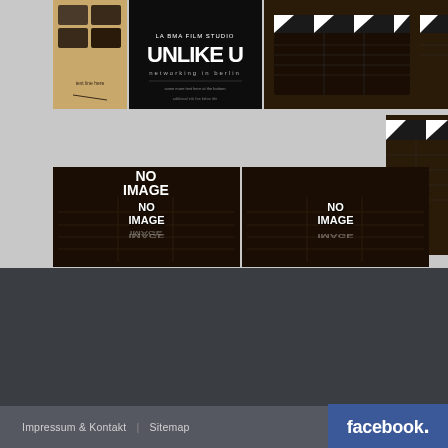[Figure (screenshot): Website screenshot showing a grid of movie/video thumbnails on a gray background. Top row contains: a kraft-paper style image with text and icons, an 'UNLIKE U' movie poster (black background, white text), a clapperboard image, a gap, and another clapperboard image cropped at right edge. Middle section shows a partially visible clapperboard at far right. Bottom section shows two 'NO IMAGE' placeholder thumbnails side by side, each showing a clapperboard with 'NO IMAGE' text overlay.]
[Figure (logo): Facebook logo badge - blue rectangle with 'facebook.' text in white bold font]
Impressum & Kontakt | Sitemap